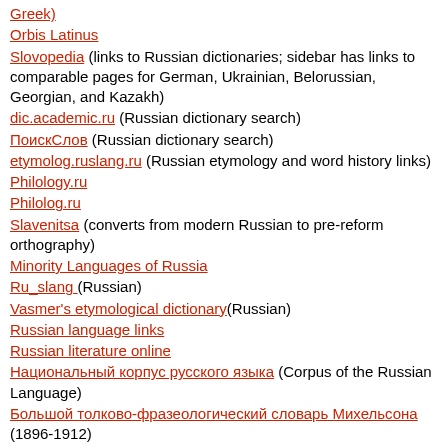Greek)
Orbis Latinus
Slovopedia (links to Russian dictionaries; sidebar has links to comparable pages for German, Ukrainian, Belorussian, Georgian, and Kazakh)
dic.academic.ru (Russian dictionary search)
ПоискСлов (Russian dictionary search)
etymolog.ruslang.ru (Russian etymology and word history links)
Philology.ru
Philolog.ru
Slavenitsa (converts from modern Russian to pre-reform orthography)
Minority Languages of Russia
Ru_slang (Russian)
Vasmer's etymological dictionary(Russian)
Russian language links
Russian literature online
Национальный корпус русского языка (Corpus of the Russian Language)
Большой толково-фразеологический словарь Михельсона (1896-1912)
Словарь русских народных говоров [Russian dialect dictionary]